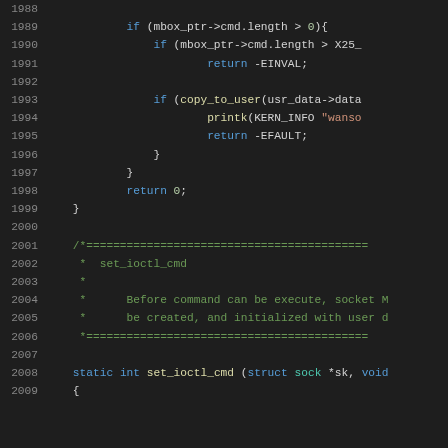Source code listing, lines 1988-2009, showing C kernel code with ioctl command handling
1989: if (mbox_ptr->cmd.length > 0){
1990: if (mbox_ptr->cmd.length > X25_
1991: return -EINVAL;
1993: if (copy_to_user(usr_data->data
1994: printk(KERN_INFO "wanso
1995: return -EFAULT;
1996: }
1997: }
1998: return 0;
1999: }
2001: /*==========================================
2002:  *  set_ioctl_cmd
2003:  *
2004:  *      Before command can be execute, socket M
2005:  *      be created, and initialized with user d
2006:  *==========================================
2008: static int set_ioctl_cmd (struct sock *sk, void
2009: {